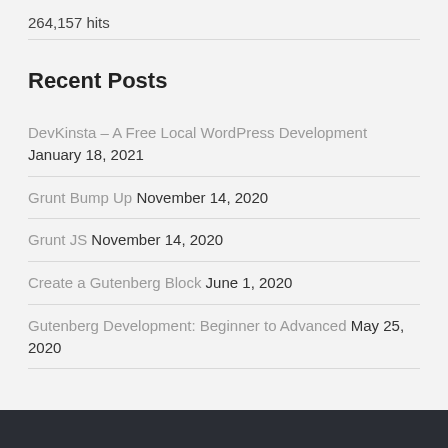264,157 hits
Recent Posts
DevKinsta – A Free Local WordPress Development January 18, 2021
Grunt Bump Up November 14, 2020
Grunt JS November 14, 2020
Create a Gutenberg Block June 1, 2020
Gutenberg Development: Beginner to Advanced May 25, 2020